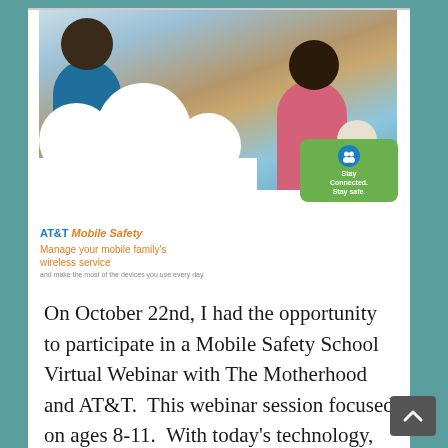[Figure (photo): AT&T Mobile Safety advertisement showing a family (man, woman, child) sitting outdoors with a tablet. White cloud graphic overlays the bottom-left. Green badge reads 'Stay Connected. Stay safe.' with a blue circular icon of two figures.]
AT&T Mobile Safety Manage your mobile family's wireless service and make the most of the devices you use every day.
On October 22nd, I had the opportunity to participate in a Mobile Safety School Virtual Webinar with The Motherhood and AT&T.  This webinar session focused on ages 8-11.  With today's technology, families can be more connected than ever, but it also brings about new issues that can't